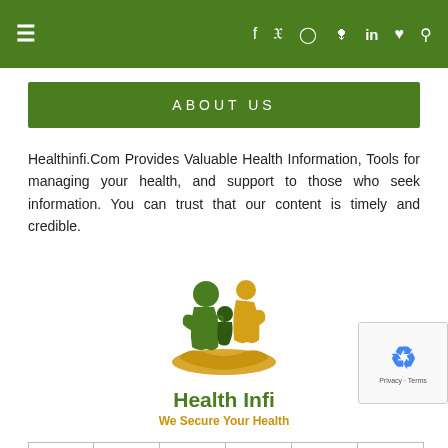≡  f  🐦  📷  𝗣  in  ♥  🔍
ABOUT US
Healthinfi.Com Provides Valuable Health Information, Tools for managing your health, and support to those who seek information. You can trust that our content is timely and credible.
[Figure (logo): Health Infi logo showing two green human figures embracing a small child figure with gold accent, held above a gold hand, with text 'Health Infi' and tagline 'We Secure Your Health']
f  🐦  📷  𝗣  in  ♥